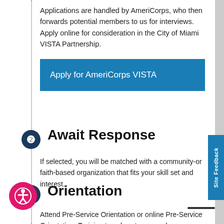Applications are handled by AmeriCorps, who then forwards potential members to us for interviews. Apply online for consideration in the City of Miami VISTA Partnership.
[Figure (other): Blue button labeled 'Apply for AmeriCorps VISTA']
2 Await Response
If selected, you will be matched with a community-or faith-based organization that fits your skill set and interest.
3 Orientation
Attend Pre-Service Orientation or online Pre-Service Orientation. Training travel costs covered